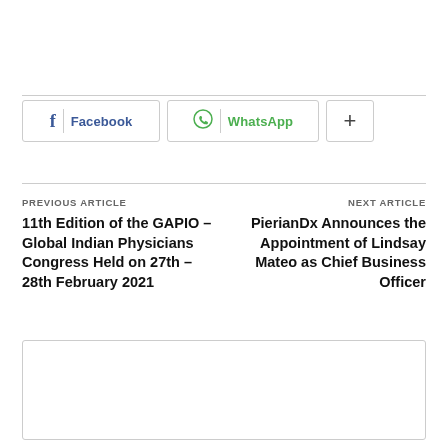Facebook | WhatsApp | +
PREVIOUS ARTICLE
11th Edition of the GAPIO – Global Indian Physicians Congress Held on 27th – 28th February 2021
NEXT ARTICLE
PierianDx Announces the Appointment of Lindsay Mateo as Chief Business Officer
[Figure (other): Empty bordered box at bottom of page]